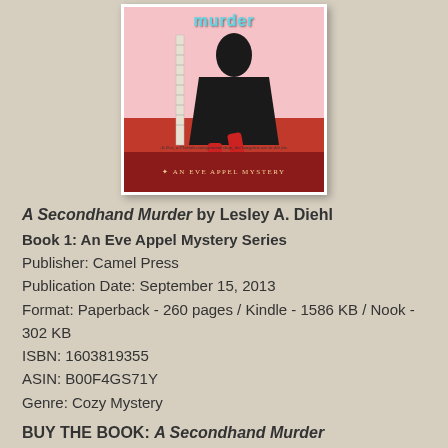[Figure (illustration): Book cover for 'A Secondhand Murder' - An Eve Appel Mystery, showing a pink background with a figure in a black dress and red stockings, with a red banner at the bottom reading 'AN EVE APPEL MYSTERY']
A Secondhand Murder by Lesley A. Diehl
Book 1: An Eve Appel Mystery Series
Publisher: Camel Press
Publication Date: September 15, 2013
Format: Paperback - 260 pages / Kindle - 1586 KB / Nook - 302 KB
ISBN: 1603819355
ASIN: B00F4GS71Y
Genre: Cozy Mystery
BUY THE BOOK: A Secondhand Murder